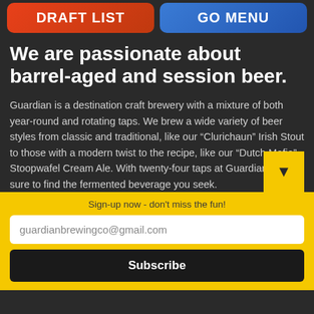[Figure (screenshot): Two navigation buttons at top: 'DRAFT LIST' in red/orange gradient and 'GO MENU' in blue gradient]
We are passionate about barrel-aged and session beer.
Guardian is a destination craft brewery with a mixture of both year-round and rotating taps. We brew a wide variety of beer styles from classic and traditional, like our “Clurichaun” Irish Stout to those with a modern twist to the recipe, like our “Dutch Mafia” Stoopwafel Cream Ale. With twenty-four taps at Guardian, you’re sure to find the fermented beverage you seek.
Sign-up now - don't miss the fun!
guardianbrewingco@gmail.com
Subscribe